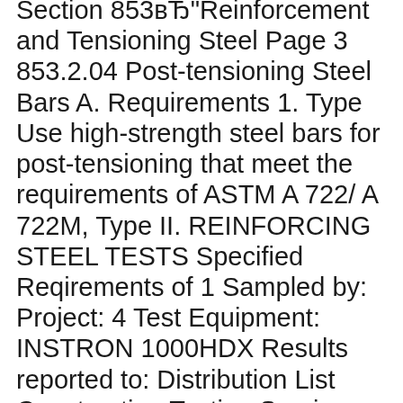Section 853вЂ"Reinforcement and Tensioning Steel Page 3 853.2.04 Post-tensioning Steel Bars A. Requirements 1. Type Use high-strength steel bars for post-tensioning that meet the requirements of ASTM A 722/ A 722M, Type II. REINFORCING STEEL TESTS Specified Reqirements of 1 Sampled by: Project: 4 Test Equipment: INSTRON 1000HDX Results reported to: Distribution List Construction Testing Services, Inc. Jonathan Felts, Testing Laboratory Supervisor Yield determined by autographic diagram method. Items tested in accordance with ASTM A370. Items meet the minimum mechanical requirements of ASTM A615-09 with